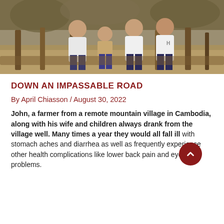[Figure (photo): A family of four (two adults and two children) sitting together on wooden structures outdoors, in a rural setting. The child in the foreground wears a plaid shirt. Adults wear white t-shirts.]
DOWN AN IMPASSABLE ROAD
By April Chiasson / August 30, 2022
John, a farmer from a remote mountain village in Cambodia, along with his wife and children always drank from the village well. Many times a year they would all fall ill with stomach aches and diarrhea as well as frequently experience other health complications like lower back pain and eye problems.